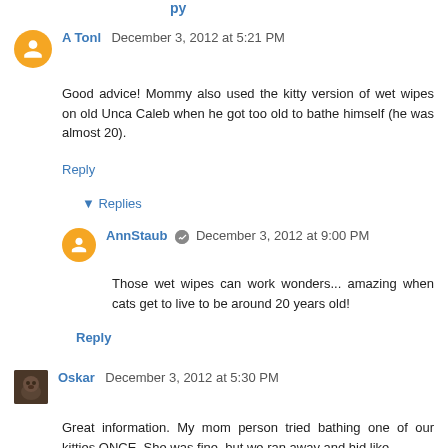A Tonl December 3, 2012 at 5:21 PM
Good advice! Mommy also used the kitty version of wet wipes on old Unca Caleb when he got too old to bathe himself (he was almost 20).
Reply
▾ Replies
AnnStaub December 3, 2012 at 9:00 PM
Those wet wipes can work wonders... amazing when cats get to live to be around 20 years old!
Reply
Oskar December 3, 2012 at 5:30 PM
Great information. My mom person tried bathing one of our kitties ONCE. She was fine, but we ran away and hid like